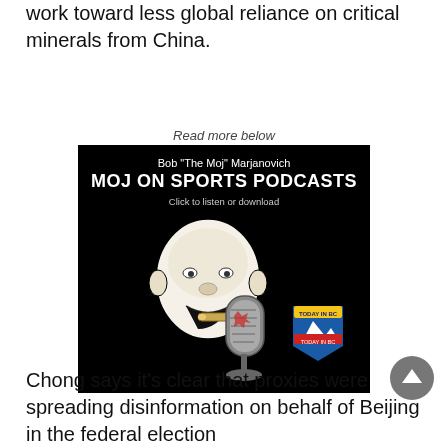work toward less global reliance on critical minerals from China.
Read more below
[Figure (advertisement): Podcast advertisement for 'Moj on Sports Podcasts' by Bob "The Moj" Marjanovich. Black background with white text, cartoon illustration of bald man with microphone, and Today in BC shield logo. Text: 'Click to listen or download']
Chong says it's clear that proxies were spreading disinformation on behalf of Beijing in the federal election